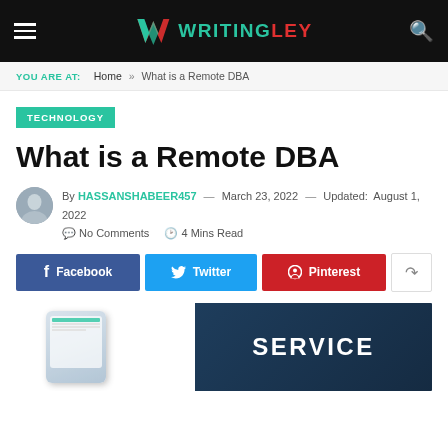WRITINGLEY
YOU ARE AT: Home » What is a Remote DBA
TECHNOLOGY
What is a Remote DBA
By HASSANSHABEER457 — March 23, 2022 — Updated: August 1, 2022   No Comments   4 Mins Read
[Figure (screenshot): Social share buttons: Facebook, Twitter, Pinterest, and a share icon button]
[Figure (photo): Featured article image showing a hand holding a phone with a dark tablet/device showing the word SERVICE on the right side]